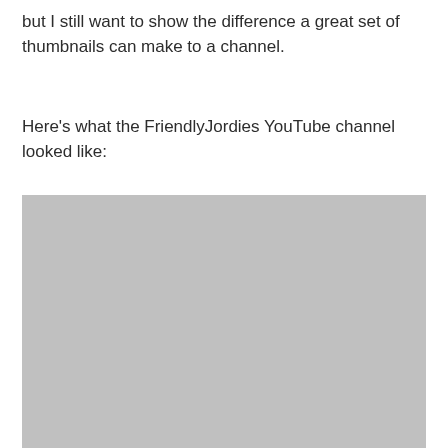but I still want to show the difference a great set of thumbnails can make to a channel.
Here's what the FriendlyJordies YouTube channel looked like:
[Figure (screenshot): A gray placeholder rectangle representing a screenshot of the FriendlyJordies YouTube channel.]